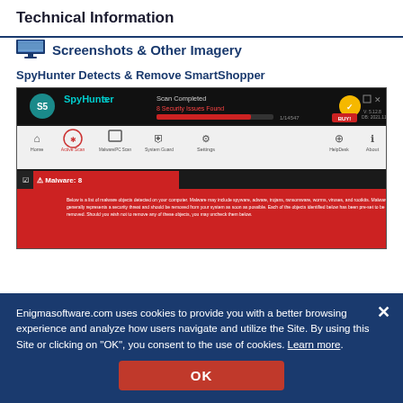Technical Information
Screenshots & Other Imagery
SpyHunter Detects & Remove SmartShopper
[Figure (screenshot): SpyHunter 5 application screenshot showing 'Scan Completed - 8 Security Issues Found' with navigation bar and malware detection list with red background]
Enigmasoftware.com uses cookies to provide you with a better browsing experience and analyze how users navigate and utilize the Site. By using this Site or clicking on "OK", you consent to the use of cookies. Learn more.